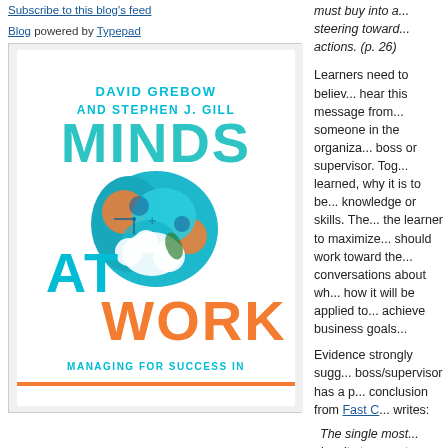Subscribe to this blog's feed
Blog powered by Typepad
[Figure (photo): Book cover of 'Minds at Work: Managing for Success in' by David Grebow and Stephen J. Gill, featuring a colorful brain illustration]
must buy into a... steering toward... actions. (p. 26)
Learners need to believe... hear this message from someone in the organization... boss or supervisor. Together, learned, why it is to be... knowledge or skills. The... the learner to maximize... should work toward the... conversations about what... how it will be applied to... achieve business goals...
Evidence strongly suggests... boss/supervisor has a p... conclusion from Fast C... writes:
The single most... loyalty turns out... environment. Ra... quality of the rel...